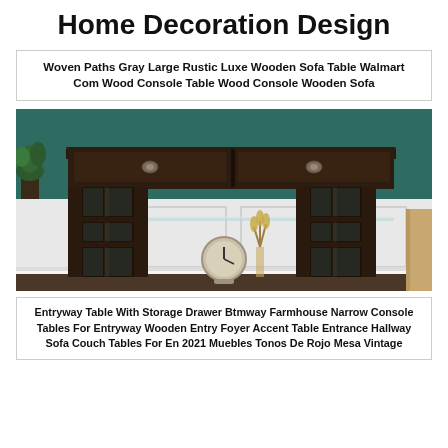Home Decoration Design
Woven Paths Gray Large Rustic Luxe Wooden Sofa Table Walmart Com Wood Console Table Wood Console Wooden Sofa
[Figure (photo): Dark espresso wood console table with two drawers, lattice-style side panels, and a glass lower shelf. Styled in a room with teal walls, white wainscoting, a potted plant, a clock, and decorative items.]
Entryway Table With Storage Drawer Btmway Farmhouse Narrow Console Tables For Entryway Wooden Entry Foyer Accent Table Entrance Hallway Sofa Couch Tables For En 2021 Muebles Tonos De Rojo Mesa Vintage